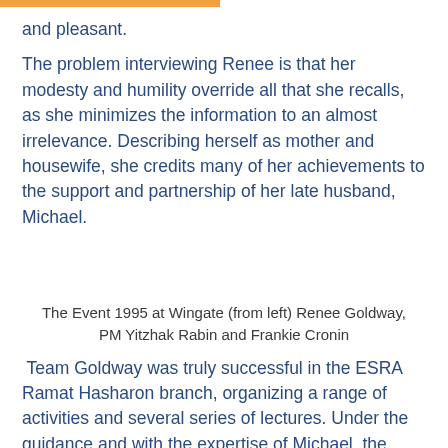and pleasant.
The problem interviewing Renee is that her modesty and humility override all that she recalls, as she minimizes the information to an almost irrelevance. Describing herself as mother and housewife, she credits many of her achievements to the support and partnership of her late husband, Michael.
The Event 1995 at Wingate (from left) Renee Goldway, PM Yitzhak Rabin and Frankie Cronin
Team Goldway was truly successful in the ESRA Ramat Hasharon branch, organizing a range of activities and several series of lectures. Under the guidance and with the expertise of Michael, the